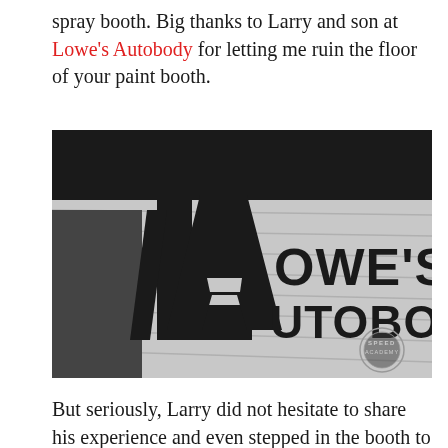spray booth. Big thanks to Larry and son at Lowe's Autobody for letting me ruin the floor of your paint booth.
[Figure (photo): Interior photo of Lowe's Autobody shop wall with large black 'LA' logo and text 'LOWE'S AUTOBODY' on a white paneled wall. Speed Academy watermark visible in lower right.]
But seriously, Larry did not hesitate to share his experience and even stepped in the booth to help